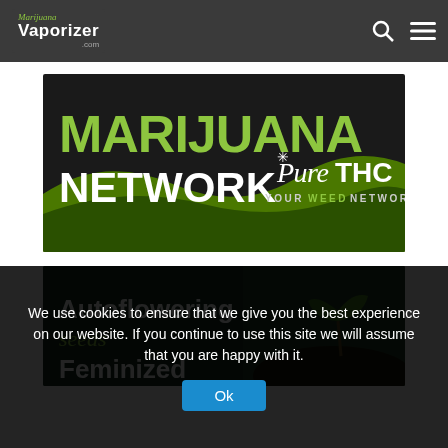Marijuana Vaporizer .com
[Figure (logo): Marijuana Network PureTHC Your Weed Network banner - dark background with large green MARIJUANA text and white NETWORK text, PureTHC branding in cursive with cannabis leaf icon]
[Figure (illustration): Autoflowering seeds / Feminized banner - dark green background with white and green italic text, hands holding cannabis seedling]
We use cookies to ensure that we give you the best experience on our website. If you continue to use this site we will assume that you are happy with it.
Ok